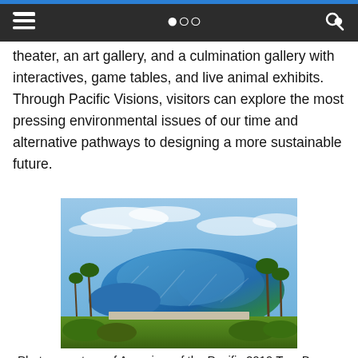≡  🔍
theater, an art gallery, and a culmination gallery with interactives, game tables, and live animal exhibits. Through Pacific Visions, visitors can explore the most pressing environmental issues of our time and alternative pathways to designing a more sustainable future.
[Figure (photo): Exterior photograph of the Aquarium of the Pacific's Pacific Visions wing — a large, modern, iridescent blue curved building surrounded by green lawn and palm trees under a partly cloudy sky.]
Photos courtesy of Aquarium of the Pacific 2019 Tom Bonner